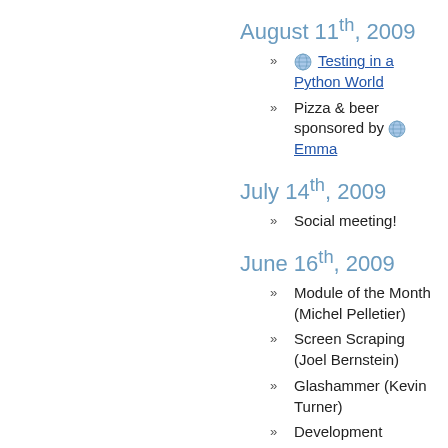August 11th, 2009
Testing in a Python World
Pizza & beer sponsored by Emma
July 14th, 2009
Social meeting!
June 16th, 2009
Module of the Month (Michel Pelletier)
Screen Scraping (Joel Bernstein)
Glashammer (Kevin Turner)
Development